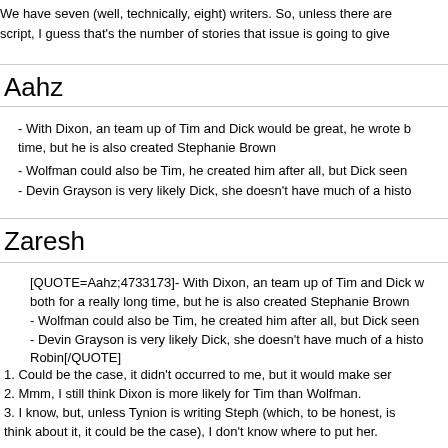We have seven (well, technically, eight) writers. So, unless there are script, I guess that's the number of stories that issue is going to give
Aahz
- With Dixon, an team up of Tim and Dick would be great, he wrote both time, but he is also created Stephanie Brown
- Wolfman could also be Tim, he created him after all, but Dick seen
- Devin Grayson is very likely Dick, she doesn't have much of a histo
Zaresh
[QUOTE=Aahz;4733173]- With Dixon, an team up of Tim and Dick w both for a really long time, but he is also created Stephanie Brown - Wolfman could also be Tim, he created him after all, but Dick seen - Devin Grayson is very likely Dick, she doesn't have much of a histo Robin[/QUOTE]
1. Could be the case, it didn't occurred to me, but it would make ser
2. Mmm, I still think Dixon is more likely for Tim than Wolfman.
3. I know, but, unless Tynion is writing Steph (which, to be honest, is think about it, it could be the case), I don't know where to put her.